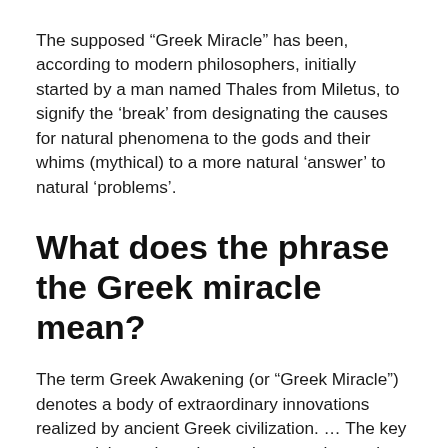The supposed “Greek Miracle” has been, according to modern philosophers, initially started by a man named Thales from Miletus, to signify the ‘break’ from designating the causes for natural phenomena to the gods and their whims (mythical) to a more natural ‘answer’ to natural ‘problems’.
What does the phrase the Greek miracle mean?
The term Greek Awakening (or “Greek Miracle”) denotes a body of extraordinary innovations realized by ancient Greek civilization. … The key prerequisite to these innovations was humanism (see Humanism).